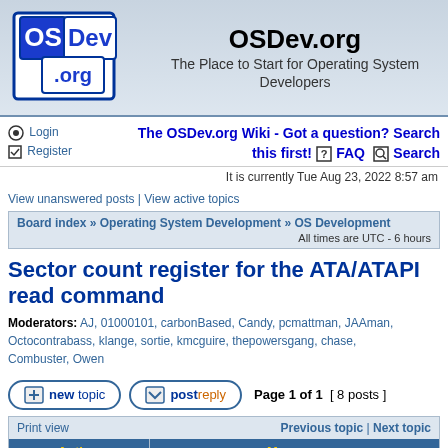[Figure (logo): OSDev.org logo with OS and Dev text in blue squares and .org below]
OSDev.org
The Place to Start for Operating System Developers
Login  Register  The OSDev.org Wiki - Got a question? Search this first!  FAQ  Search
It is currently Tue Aug 23, 2022 8:57 am
View unanswered posts | View active topics
Board index » Operating System Development » OS Development  All times are UTC - 6 hours
Sector count register for the ATA/ATAPI read command
Moderators: AJ, 01000101, carbonBased, Candy, pcmattman, JAAman, Octocontrabass, klange, sortie, kmcguire, thepowersgang, chase, Combuster, Owen
Page 1 of 1  [ 8 posts ]
| Author | Message |
| --- | --- |
|  | Post subject: Sector count register for the |